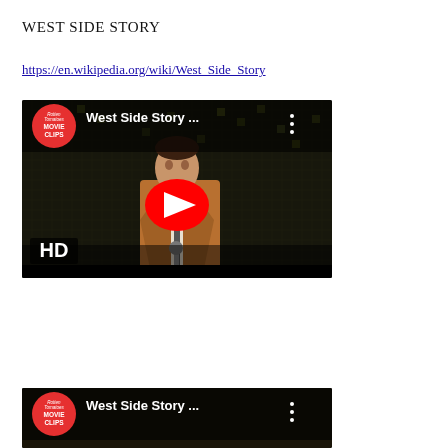WEST SIDE STORY
https://en.wikipedia.org/wiki/West_Side_Story
[Figure (screenshot): YouTube video thumbnail for 'West Side Story ...' from Rotten Tomatoes Movie Clips channel. Shows a man in a tan/brown suit jacket in front of a dark reflective grid background. Large red YouTube play button in center. HD badge in lower left. Three-dot menu icon in top right.]
[Figure (screenshot): Second YouTube video thumbnail for 'West Side Story ...' from Rotten Tomatoes Movie Clips channel, partially visible at bottom of page.]